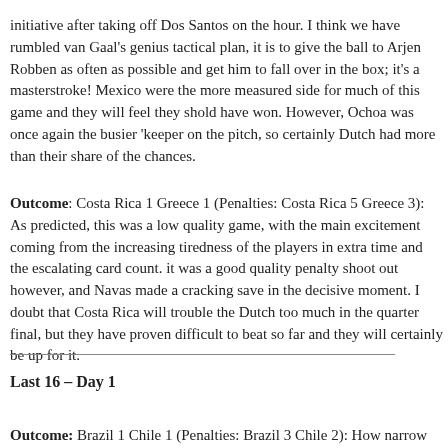initiative after taking off Dos Santos on the hour. I think we have rumbled van Gaal's genius tactical plan, it is to give the ball to Arjen Robben as often as possible and get him to fall over in the box; it's a masterstroke! Mexico were the more measured side for much of this game and they will feel they shold have won. However, Ochoa was once again the busier 'keeper on the pitch, so certainly Dutch had more than their share of the chances.
Outcome: Costa Rica 1 Greece 1 (Penalties: Costa Rica 5 Greece 3): As predicted, this was a low quality game, with the main excitement coming from the increasing tiredness of the players in extra time and the escalating card count. it was a good quality penalty shoot out however, and Navas made a cracking save in the decisive moment. I doubt that Costa Rica will trouble the Dutch too much in the quarter final, but they have proven difficult to beat so far and they will certainly be up for it.
Last 16 – Day 1
Outcome: Brazil 1 Chile 1 (Penalties: Brazil 3 Chile 2): How narrow